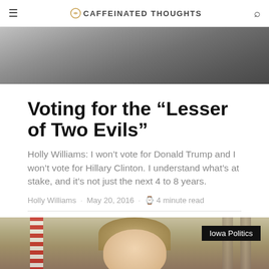CAFFEINATED THOUGHTS
[Figure (photo): Top banner photo of a person in a formal setting with columns, partially visible at top of page]
Voting for the “Lesser of Two Evils”
Holly Williams: I won’t vote for Donald Trump and I won’t vote for Hillary Clinton. I understand what’s at stake, and it’s not just the next 4 to 8 years.
Holly Williams · May 20, 2016 · ⌚ 4 minute read
[Figure (photo): Photo of a blonde woman in a red jacket, possibly Kim Reynolds, with Iowa flag in background. Tag overlay reads Iowa Politics]